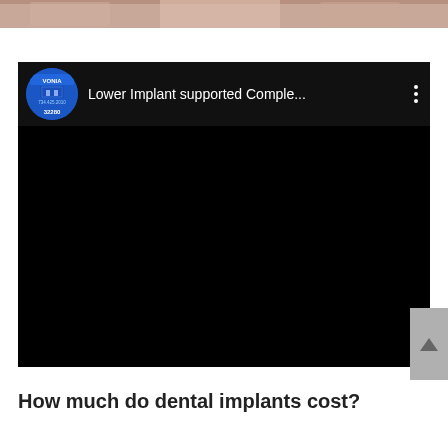[Figure (photo): Top portion of a photo showing people, cropped — only the lower portion of the image is visible at the top of the page.]
[Figure (screenshot): Embedded YouTube-style video player with black background. Channel avatar shows 'VONIA' dental branding with phone number 734.425.2010. Video title reads 'Lower Implant supported Comple...' with a three-dot menu icon on the right.]
How much do dental implants cost?